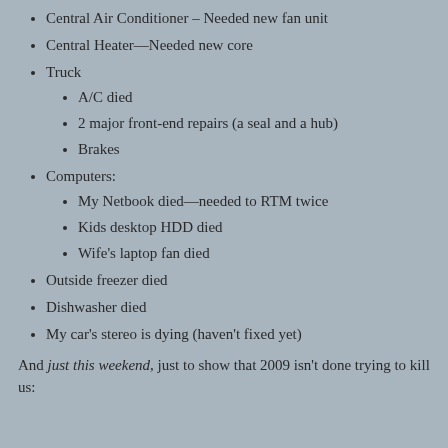Central Air Conditioner – Needed new fan unit
Central Heater—Needed new core
Truck
A/C died
2 major front-end repairs (a seal and a hub)
Brakes
Computers:
My Netbook died—needed to RTM twice
Kids desktop HDD died
Wife's laptop fan died
Outside freezer died
Dishwasher died
My car's stereo is dying (haven't fixed yet)
And just this weekend, just to show that 2009 isn't done trying to kill us: